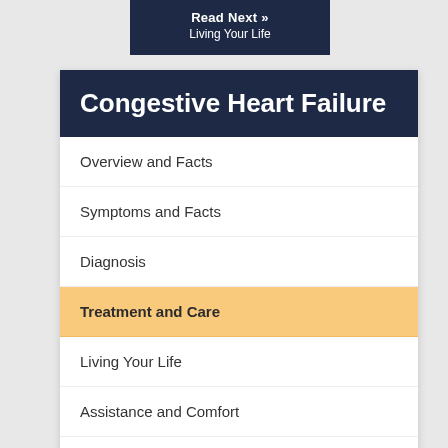Read Next » Living Your Life
Congestive Heart Failure
Overview and Facts
Symptoms and Facts
Diagnosis
Treatment and Care
Living Your Life
Assistance and Comfort
Video